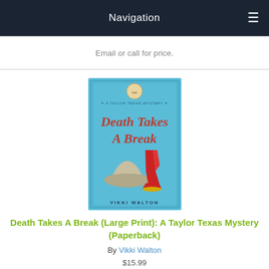Navigation
Email or call for price.
[Figure (photo): Book cover of 'Death Takes A Break: A Taylor Texas Mystery' by Vikki Walton. Light blue background with cowboy hat and red cowboy boot illustration.]
Death Takes A Break (Large Print): A Taylor Texas Mystery (Paperback)
By Vikki Walton
$15.99
Email or call for price.